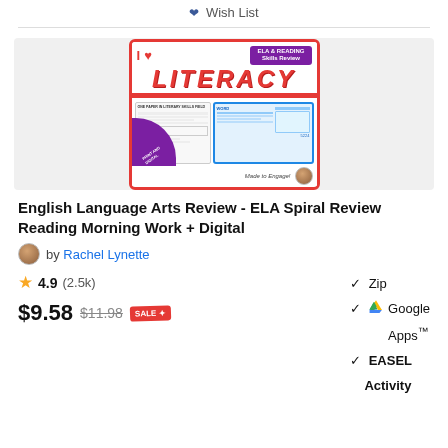Wish List
[Figure (illustration): Product thumbnail for 'I Love Literacy - ELA & Reading Skills Review' educational worksheet bundle showing print and digital materials]
English Language Arts Review - ELA Spiral Review Reading Morning Work + Digital
by Rachel Lynette
4.9 (2.5k)
$9.58 $11.98 SALE
Zip
Google Apps™
EASEL Activity